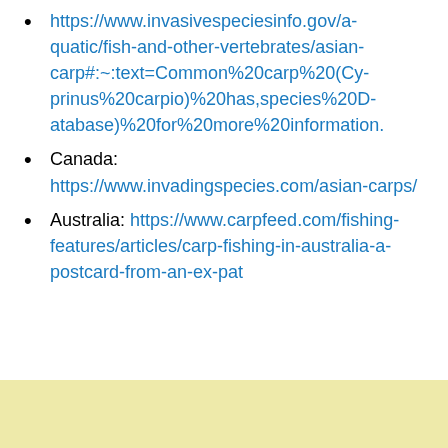https://www.invasivespeciesinfo.gov/aquatic/fish-and-other-vertebrates/asian-carp#:~:text=Common%20carp%20(Cyprinus%20carpio)%20has,species%20Database)%20for%20more%20information.
Canada: https://www.invadingspecies.com/asian-carps/
Australia: https://www.carpfeed.com/fishing-features/articles/carp-fishing-in-australia-a-postcard-from-an-ex-pat